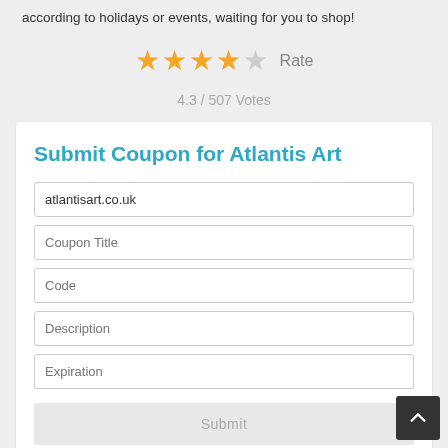according to holidays or events, waiting for you to shop!
[Figure (other): 4 filled gold stars and 1 empty star with Rate label]
4.3 / 507 Votes
Submit Coupon for Atlantis Art
atlantisart.co.uk
Coupon Title
Code
Description
Expiration
Submit